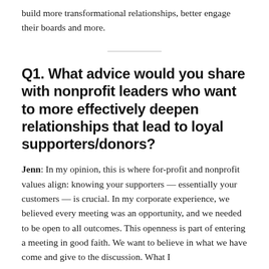build more transformational relationships, better engage their boards and more.
Q1. What advice would you share with nonprofit leaders who want to more effectively deepen relationships that lead to loyal supporters/donors?
Jenn: In my opinion, this is where for-profit and nonprofit values align: knowing your supporters — essentially your customers — is crucial. In my corporate experience, we believed every meeting was an opportunity, and we needed to be open to all outcomes. This openness is part of entering a meeting in good faith. We want to believe in what we have come and give to the discussion. What I...